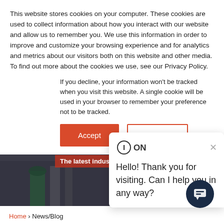This website stores cookies on your computer. These cookies are used to collect information about how you interact with our website and allow us to remember you. We use this information in order to improve and customize your browsing experience and for analytics and metrics about our visitors both on this website and other media. To find out more about the cookies we use, see our Privacy Policy.
If you decline, your information won't be tracked when you visit this website. A single cookie will be used in your browser to remember your preference not to be tracked.
[Figure (screenshot): Cookie consent buttons: red 'Accept' button and outlined 'Decline' button]
[Figure (photo): Industrial workers in a facility, partially visible behind the cookie overlay]
The latest industry
[Figure (screenshot): ION chat widget popup with message: Hello! Thank you for visiting. Can I help you in any way? with a close X button and ION logo]
[Figure (other): Dark navy round chat bubble button]
Home > News/Blog